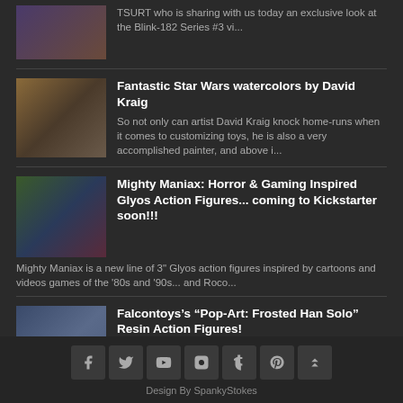TSURT who is sharing with us today an exclusive look at the Blink-182 Series #3 vi...
Fantastic Star Wars watercolors by David Kraig
So not only can artist David Kraig knock home-runs when it comes to customizing toys, he is also a very accomplished painter, and above i...
Mighty Maniax: Horror & Gaming Inspired Glyos Action Figures... coming to Kickstarter soon!!!
Mighty Maniax is a new line of 3" Glyos action figures inspired by cartoons and videos games of the '80s and '90s... and Roco...
Falcontoys’s “Pop-Art: Frosted Han Solo” Resin Action Figures!
Taking the iconic image of Han Solo frozen in carbonite and transforming it into something slightly askew has become a standard within ou...
Design By SpankyStokes